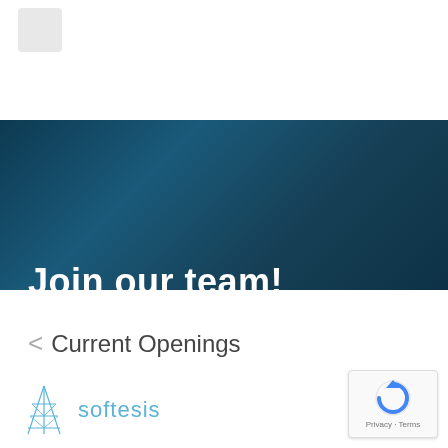[Figure (logo): Small logo placeholder in white header area]
Join our team!
< Current Openings
[Figure (logo): Softesis logo with tower icon and teal text]
[Figure (other): reCAPTCHA privacy badge with circular arrow icon, Privacy and Terms links]